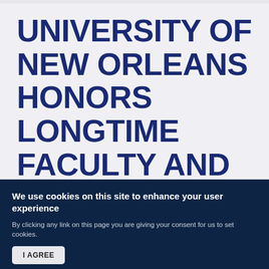UNIVERSITY OF NEW ORLEANS HONORS LONGTIME FACULTY AND STAFF
We use cookies on this site to enhance your user experience
By clicking any link on this page you are giving your consent for us to set cookies.
I AGREE